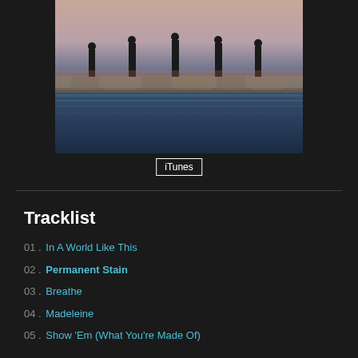[Figure (photo): Five men in dark suits standing on a stone pier/jetty over water at dusk/sunset with sky in the background]
iTunes
Tracklist
01 . In A World Like This
02 . Permanent Stain
03 . Breathe
04 . Madeleine
05 . Show 'Em (What You're Made Of)